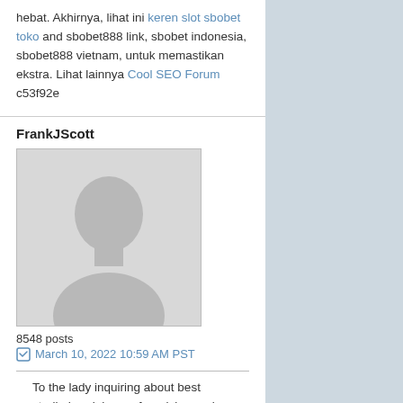hebat. Akhirnya, lihat ini keren slot sbobet toko and sbobet888 link, sbobet indonesia, sbobet888 vietnam, untuk memastikan ekstra. Lihat lainnya Cool SEO Forum c53f92e
FrankJScott
[Figure (photo): Default user avatar placeholder — grey silhouette of a person on light grey background]
8548 posts
March 10, 2022 10:59 AM PST
To the lady inquiring about best studio headphones for mixing and mastering, difference between mixing and mastering